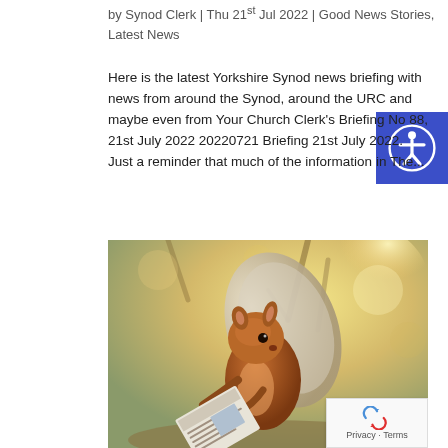by Synod Clerk | Thu 21st Jul 2022 | Good News Stories, Latest News
Here is the latest Yorkshire Synod news briefing with news from around the Synod, around the URC and maybe even from Your Church Clerk's Briefing No 88, 21st July 2022 20220721 Briefing 21st July 2022.   Just a reminder that much of the information in The...
[Figure (photo): A red squirrel sitting upright and reading a small newspaper/leaflet, set against a warm bokeh background of trees and sunlight.]